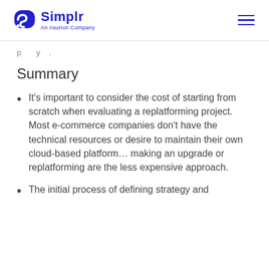Simplr — An Asurion Company
p...y...
Summary
It's important to consider the cost of starting from scratch when evaluating a replatforming project. Most e-commerce companies don't have the technical resources or desire to maintain their own cloud-based platform… making an upgrade or replatforming are the less expensive approach.
The initial process of defining strategy and